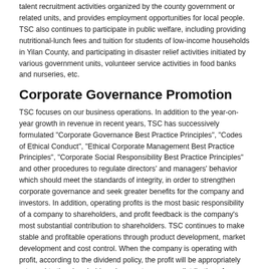talent recruitment activities organized by the county government or related units, and provides employment opportunities for local people. TSC also continues to participate in public welfare, including providing nutritional-lunch fees and tuition for students of low-income households in Yilan County, and participating in disaster relief activities initiated by various government units, volunteer service activities in food banks and nurseries, etc.
Corporate Governance Promotion
TSC focuses on our business operations. In addition to the year-on-year growth in revenue in recent years, TSC has successively formulated "Corporate Governance Best Practice Principles", "Codes of Ethical Conduct", "Ethical Corporate Management Best Practice Principles", "Corporate Social Responsibility Best Practice Principles" and other procedures to regulate directors' and managers' behavior which should meet the standards of integrity, in order to strengthen corporate governance and seek greater benefits for the company and investors. In addition, operating profits is the most basic responsibility of a company to shareholders, and profit feedback is the company's most substantial contribution to shareholders. TSC continues to make stable and profitable operations through product development, market development and cost control. When the company is operating with profit, according to the dividend policy, the profit will be appropriately returned to the shareholders. In recent years, our distribution of dividends has been stable, and it has good performance in shareholder compensation.
Implementation of CSR